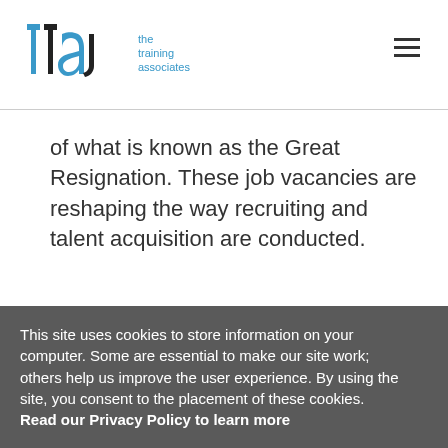[Figure (logo): TTA - The Training Associates logo with blue and black stylized letters 'tta' and blue text 'the training associates']
of what is known as the Great Resignation. These job vacancies are reshaping the way recruiting and talent acquisition are conducted.
This site uses cookies to store information on your computer. Some are essential to make our site work; others help us improve the user experience. By using the site, you consent to the placement of these cookies. Read our Privacy Policy to learn more